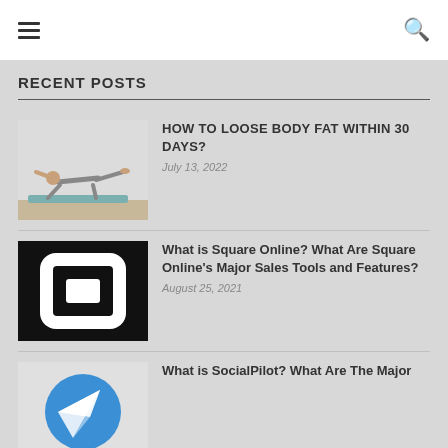[hamburger menu icon] [search icon]
RECENT POSTS
[Figure (photo): Woman doing yoga/exercise pose on a mat, balancing on one knee and hand with the other leg extended back]
HOW TO LOOSE BODY FAT WITHIN 30 DAYS?
July 13, 2022
[Figure (logo): Square (payment company) logo: white rounded square on black background with a smaller black square inside and a white square in the center]
What is Square Online? What Are Square Online's Major Sales Tools and Features?
August 25, 2021
[Figure (logo): SocialPilot logo: blue circle with white paper airplane icon]
What is SocialPilot? What Are The Major